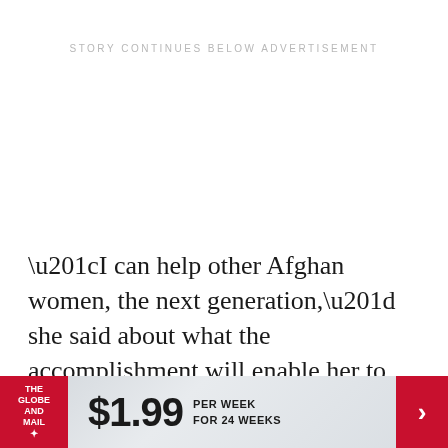STORY CONTINUES BELOW ADVERTISEMENT
“I can help other Afghan women, the next generation,” she said about what the accomplishment will enable her to do.
“I want my country to have all freedoms, an opportunity for everyone.”
[Figure (infographic): The Globe and Mail advertisement banner showing $1.99 per week for 24 weeks with red logo and arrow]
$1.99 PER WEEK FOR 24 WEEKS